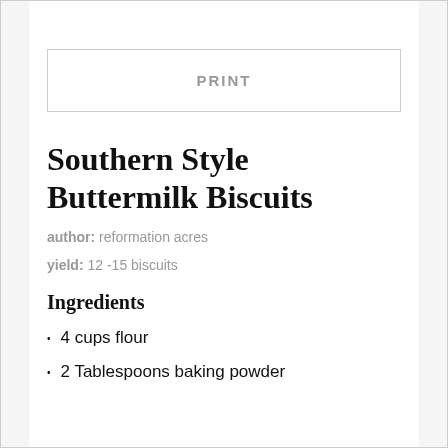PRINT
Southern Style Buttermilk Biscuits
author: reformation acres
yield: 12 -15 biscuits
Ingredients
4 cups flour
2 Tablespoons baking powder